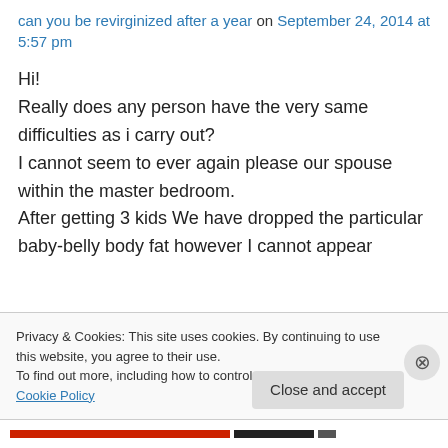can you be revirginized after a year on September 24, 2014 at 5:57 pm
Hi!
Really does any person have the very same difficulties as i carry out?
I cannot seem to ever again please our spouse within the master bedroom.
After getting 3 kids We have dropped the particular baby-belly body fat however I cannot appear
Privacy & Cookies: This site uses cookies. By continuing to use this website, you agree to their use.
To find out more, including how to control cookies, see here: Cookie Policy
Close and accept